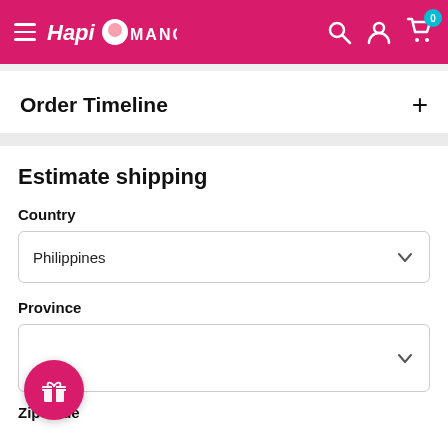Hapi Manga — navigation header with hamburger menu, logo, search, account, and cart icons
Order Timeline +
Estimate shipping
Country
Philippines
Province
Zip code